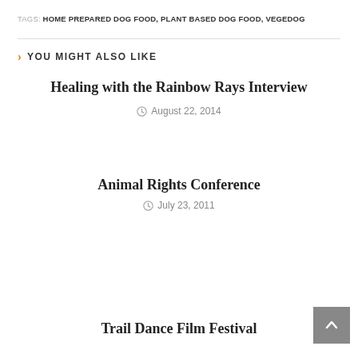TAGS: HOME PREPARED DOG FOOD, PLANT BASED DOG FOOD, VEGEDOG
YOU MIGHT ALSO LIKE
Healing with the Rainbow Rays Interview
August 22, 2014
Animal Rights Conference
July 23, 2011
Trail Dance Film Festival